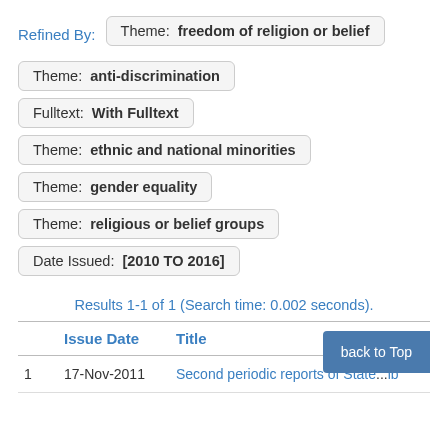Refined By: Theme: freedom of religion or belief
Theme: anti-discrimination
Fulltext: With Fulltext
Theme: ethnic and national minorities
Theme: gender equality
Theme: religious or belief groups
Date Issued: [2010 TO 2016]
Results 1-1 of 1 (Search time: 0.002 seconds).
|  | Issue Date | Title |
| --- | --- | --- |
| 1 | 17-Nov-2011 | Second periodic reports of State... lb |